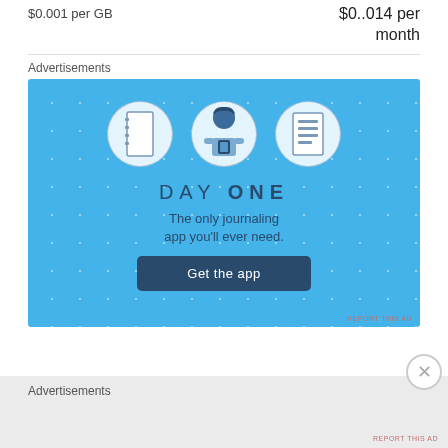$0.001 per GB
$0..014 per month
Advertisements
[Figure (illustration): Day One journaling app advertisement on a blue background with sparkle dots. Shows three circular icons (notebook, person using phone, list/checklist), the text DAY ONE, tagline 'The only journaling app you'll ever need.', and a dark blue 'Get the app' button.]
REPORT THIS AD
Advertisements
REPORT THIS AD